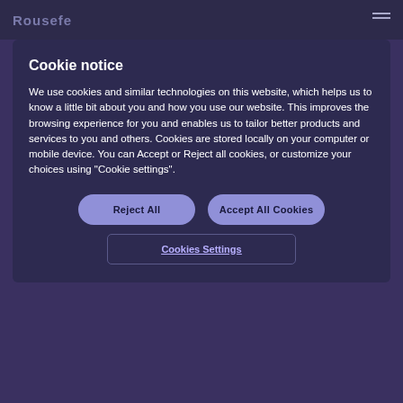Rousofe
Cookie notice
We use cookies and similar technologies on this website, which helps us to know a little bit about you and how you use our website. This improves the browsing experience for you and enables us to tailor better products and services to you and others. Cookies are stored locally on your computer or mobile device. You can Accept or Reject all cookies, or customize your choices using "Cookie settings".
Reject All
Accept All Cookies
Cookies Settings
address and combat racism in the workplace, companies must have policies in place and provide effective equality and diversity training. They must implement mechanisms e⁠ g employees to voice issues about inequalities and the r change in a safe environment. They must have more transparent processes for promotions. Change is on the